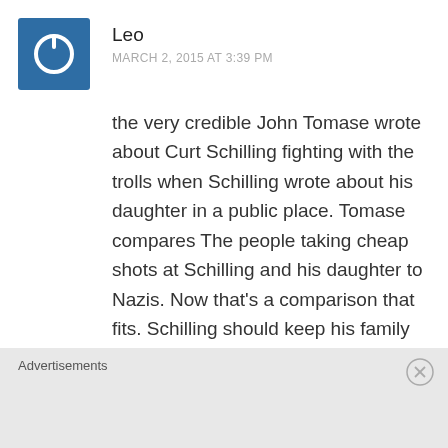[Figure (illustration): Blue square avatar icon with a power/on button symbol in white]
Leo
MARCH 2, 2015 AT 3:39 PM
the very credible John Tomase wrote about Curt Schilling fighting with the trolls when Schilling wrote about his daughter in a public place. Tomase compares The people taking cheap shots at Schilling and his daughter to Nazis. Now that’s a comparison that fits. Schilling should keep his family out of public life, not expose them
Advertisements